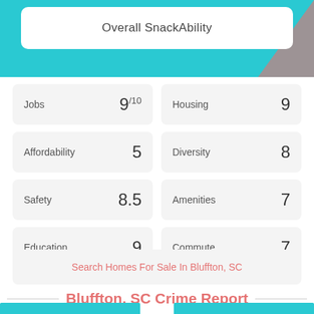Overall SnackAbility
| Category | Score |
| --- | --- |
| Jobs | 9/10 |
| Housing | 9 |
| Affordability | 5 |
| Diversity | 8 |
| Safety | 8.5 |
| Amenities | 7 |
| Education | 9 |
| Commute | 7 |
Search Homes For Sale In Bluffton, SC
Bluffton, SC Crime Report